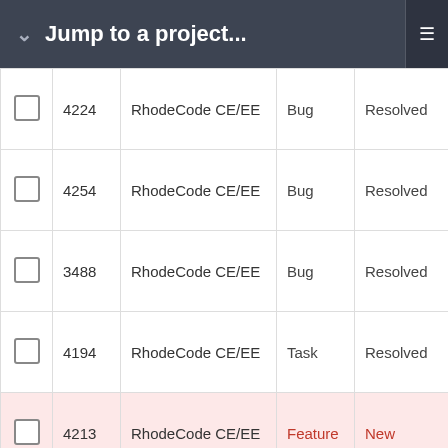Jump to a project...
|  | ID | Project | Type | Status | Priority |
| --- | --- | --- | --- | --- | --- |
| ☐ | 4224 | RhodeCode CE/EE | Bug | Resolved | Norm |
| ☐ | 4254 | RhodeCode CE/EE | Bug | Resolved | Norm |
| ☐ | 3488 | RhodeCode CE/EE | Bug | Resolved | Norm |
| ☐ | 4194 | RhodeCode CE/EE | Task | Resolved | Norm |
| ☐ | 4213 | RhodeCode CE/EE | Feature | New | High |
| ☐ | 4184 | RhodeCode CE/EE | Bug | Resolved | High |